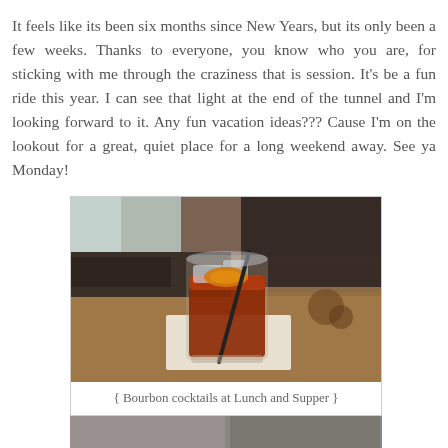It feels like its been six months since New Years, but its only been a few weeks. Thanks to everyone, you know who you are, for sticking with me through the craziness that is session. It's be a fun ride this year. I can see that light at the end of the tunnel and I'm looking forward to it. Any fun vacation ideas??? Cause I'm on the lookout for a great, quiet place for a long weekend away. See ya Monday!
[Figure (photo): A bourbon cocktail in a lowball glass with ice, an orange peel garnish, and a black straw, sitting on a paper napkin on a wooden bar surface.]
{ Bourbon cocktails at Lunch and Supper }
[Figure (photo): Partial view of another photo at the bottom of the page, cut off.]